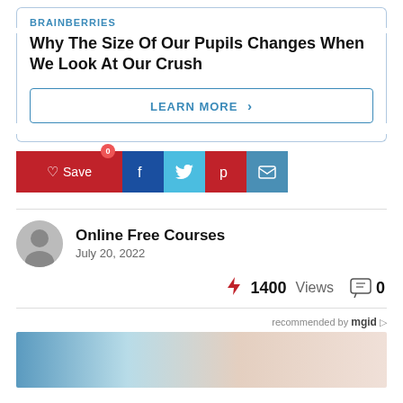BRAINBERRIES
Why The Size Of Our Pupils Changes When We Look At Our Crush
LEARN MORE >
[Figure (infographic): Social share bar with Save (heart icon, 0 badge), Facebook, Twitter, Pinterest, and Email icons]
Online Free Courses
July 20, 2022
⚡ 1400 Views  💬 0
recommended by mgid
[Figure (photo): Close-up photo of a person's neck/skin area with a medical/cosmetic procedure being performed, showing gloved hand with instrument]